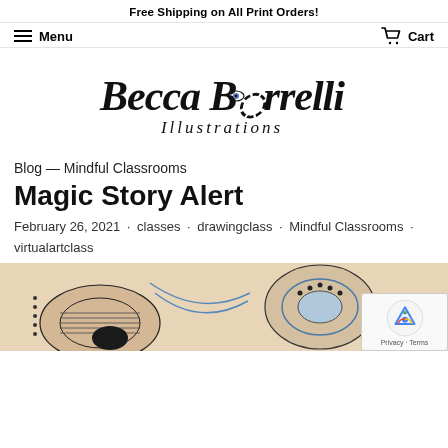Free Shipping on All Print Orders!
Menu   Cart
[Figure (logo): Becca Borrelli Illustrations handwritten logo with eye illustration]
Blog — Mindful Classrooms
Magic Story Alert
February 26, 2021 · classes · drawingclass · Mindful Classrooms · virtualartclass
[Figure (illustration): Partial view of an art illustration with abstract shapes and patterns in tan, blue and black]